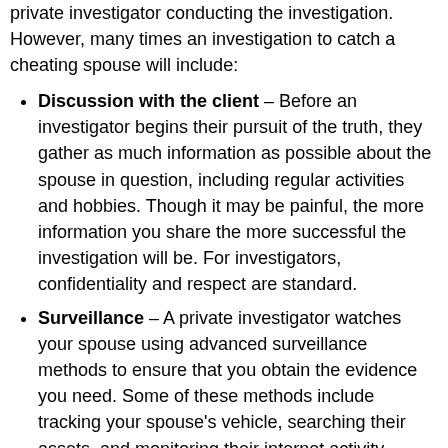private investigator conducting the investigation. However, many times an investigation to catch a cheating spouse will include:
Discussion with the client – Before an investigator begins their pursuit of the truth, they gather as much information as possible about the spouse in question, including regular activities and hobbies. Though it may be painful, the more information you share the more successful the investigation will be. For investigators, confidentiality and respect are standard.
Surveillance – A private investigator watches your spouse using advanced surveillance methods to ensure that you obtain the evidence you need. Some of these methods include tracking your spouse's vehicle, searching their assets, and monitoring their internet activity.
Presentation of Evidence – Evidence gathered by a